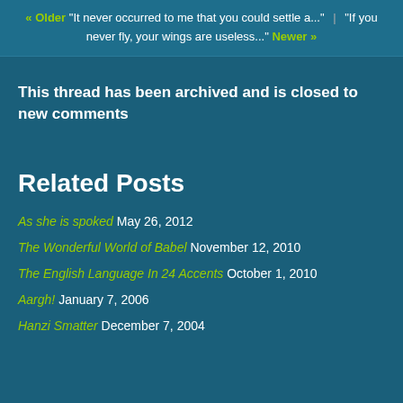« Older "It never occurred to me that you could settle a...  |  "If you never fly, your wings are useless..." Newer »
This thread has been archived and is closed to new comments
Related Posts
As she is spoked May 26, 2012
The Wonderful World of Babel November 12, 2010
The English Language In 24 Accents October 1, 2010
Aargh! January 7, 2006
Hanzi Smatter December 7, 2004